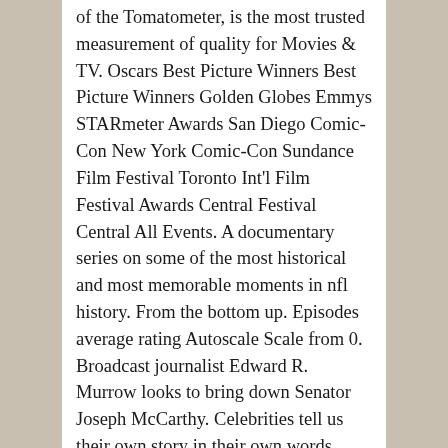of the Tomatometer, is the most trusted measurement of quality for Movies & TV. Oscars Best Picture Winners Best Picture Winners Golden Globes Emmys STARmeter Awards San Diego Comic-Con New York Comic-Con Sundance Film Festival Toronto Int'l Film Festival Awards Central Festival Central All Events. A documentary series on some of the most historical and most memorable moments in nfl history. From the bottom up. Episodes average rating Autoscale Scale from 0. Broadcast journalist Edward R. Murrow looks to bring down Senator Joseph McCarthy. Celebrities tell us their own story in their own words. This is Australia's first unscripted reality TV show. Get top-industry secrets and even pitch your shows to Award-Winning Documentary Filmmakers and Unscripted Television Producers Joke Fincioen and Biagio Messina. the characters are never been heard of actors young and old, with a mix of some you've seen before and some you will never see again (all using their real names). Celebs. Use the HTML below. The … A boy growing up in Long Island seeks out father figures among the patrons at his uncle's bar. The…